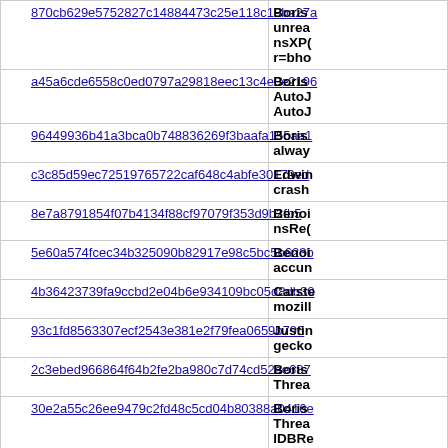| Hash | Description |
| --- | --- |
| 870cb629e5752827c14884473c25e118c19ba27a | Boris unrea nsXP( r=bho |
| a45a6cde6558c0ed0797a29818eec13c4e0e2196 | Boris AutoJ AutoJ |
| 96449936b41a3bca0b748836269f3baafa155aa1 | Boris alway |
| c3c85d59ec72519765722caf648c4abfe30179ed | Edwin crash |
| 8e7a8791854f07b4134f88cf97079f353d9b2fb5 | Benoi nsRe( |
| 5e60a574fcec34b325090b82917e98c5bc5b623b | Benoi accun |
| 4b36423739fa9ccbd2e04b6e934109bc05d8db30 | Carste mozill |
| 93c1fd8563307ecf2543e381e2f79fea0659b796 | Justin gecko |
| 2c3ebed966864f64b2fe2ba980c7d74cd52ae687 | Boris Threa |
| 30e2a55c26ee9479c2fd48c5cd04b80388a0416e | Boris Threa IDBRe |
| 16ddfdbf6ff40842cca65951f0709d54980e7296 | Boris Threa excep |
| 6c701e2a30470c3ae6102be68ff20edfd3ad685d | Boris Thr |